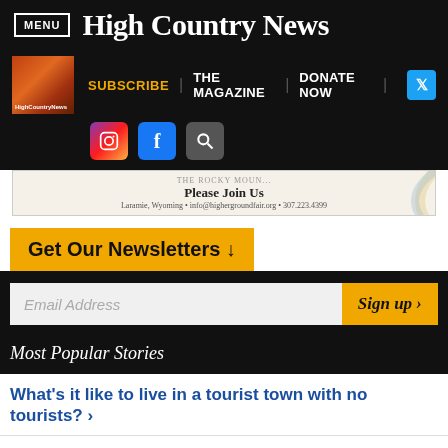MENU | High Country News
SUBSCRIBE | THE MAGAZINE | DONATE NOW
[Figure (screenshot): Social media icons: Instagram, Facebook, Search]
[Figure (other): Advertisement banner: Please Join Us, Laramie, Wyoming, info@highergroundfair.org, 307.223.4399]
Get Our Newsletters ↓
Email Address
Sign up ›
Most Popular Stories
What's it like to live in a tourist town with no tourists? ›
Questions about the LandBack